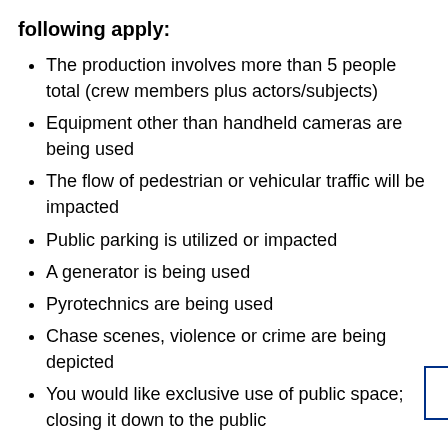following apply:
The production involves more than 5 people total (crew members plus actors/subjects)
Equipment other than handheld cameras are being used
The flow of pedestrian or vehicular traffic will be impacted
Public parking is utilized or impacted
A generator is being used
Pyrotechnics are being used
Chase scenes, violence or crime are being depicted
You would like exclusive use of public space; closing it down to the public
If your shoot does not require a Film Permit, you must still follow the rules governing the area in which